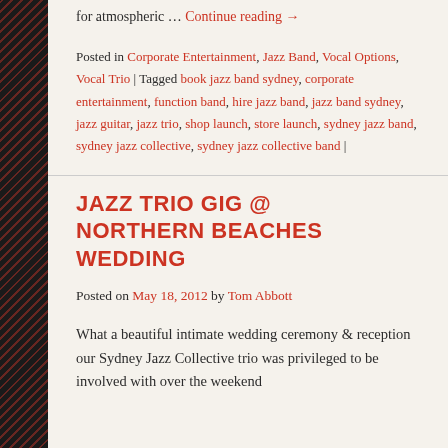for atmospheric … Continue reading →
Posted in Corporate Entertainment, Jazz Band, Vocal Options, Vocal Trio | Tagged book jazz band sydney, corporate entertainment, function band, hire jazz band, jazz band sydney, jazz guitar, jazz trio, shop launch, store launch, sydney jazz band, sydney jazz collective, sydney jazz collective band |
JAZZ TRIO GIG @ NORTHERN BEACHES WEDDING
Posted on May 18, 2012 by Tom Abbott
What a beautiful intimate wedding ceremony & reception our Sydney Jazz Collective trio was privileged to be involved with over the weekend